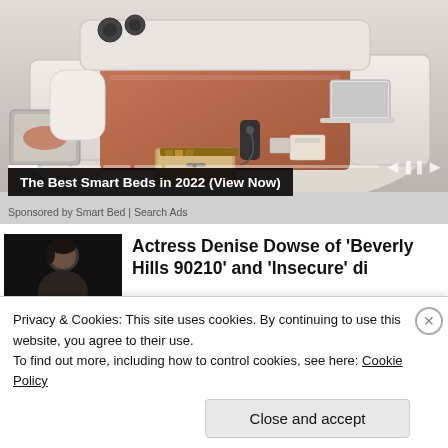[Figure (screenshot): Advertisement showing a smart bed with storage, speakers, and laptop stand. Slideshow controls and progress bar visible at bottom of image.]
The Best Smart Beds in 2022 (View Now)
Sponsored by Smart Bed | Search Ads
[Figure (photo): Thumbnail photo of Actress Denise Dowse]
Actress Denise Dowse of 'Beverly Hills 90210' and 'Insecure' di...
Privacy & Cookies: This site uses cookies. By continuing to use this website, you agree to their use.
To find out more, including how to control cookies, see here: Cookie Policy
Close and accept